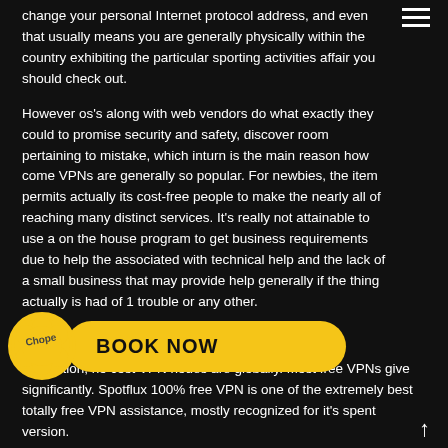change your personal Internet protocol address, and even that usually means you are generally physically within the country exhibiting the particular sporting activities affair you should check out.
However os's along with web vendors do what exactly they could to promise security and safety, discover room pertaining to mistake, which inturn is the main reason how come VPNs are generally so popular. For newbies, the item permits actually its cost-free people to make the nearly all of reaching many distinct services. It's really not attainable to use a on the house program to get business requirements due to help the associated with technical help and the lack of a small business that may provide help generally if the thing actually is had of 1 trouble or any other.
Free VPN Free VPN For Pc for Idiot's
In addition, no cost VPN nodes are globally. Most free VPNs give significantly. Spotflux 100% free VPN is one of the extremely best totally free VPN assistance, mostly recognized for it's spent version.
[Figure (logo): Chope logo (yellow flower/badge shape with 'Chope' text) next to a yellow 'BOOK NOW' pill button]